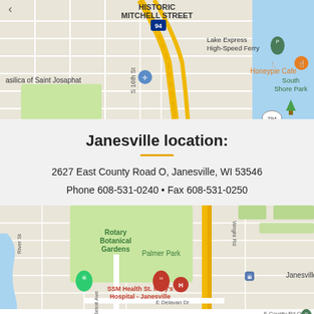[Figure (map): Google Maps screenshot showing Milwaukee area with Historic Mitchell Street, Basilica of Saint Josaphat, Honeypie Cafe, Lake Express High-Speed Ferry, South Shore Park, highway I-94 and I-794 markers, S 16th St label.]
Janesville location:
2627 East County Road O, Janesville, WI 53546
Phone 608-531-0240 • Fax 608-531-0250
[Figure (map): Google Maps screenshot showing Janesville area with Rotary Botanical Gardens, Palmer Park, SSM Health St. Mary's Hospital - Janesville, Janesville DMV, Beloit Ave, E Delavan Dr, E County Rd O, Wright Rd, River St, Tree Wise Men location pin.]